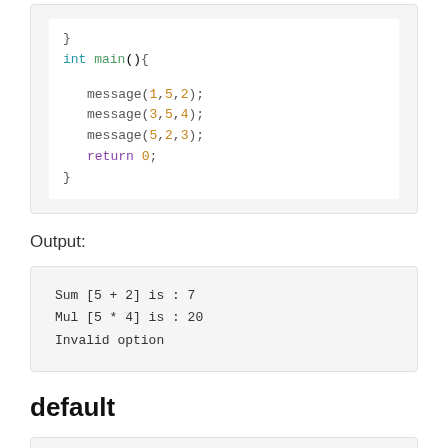[Figure (screenshot): Code block showing C main() function with message() calls]
Output:
[Figure (screenshot): Output block showing: Sum [5 + 2] is : 7, Mul [5 * 4] is : 20, Invalid option]
default
[Figure (screenshot): Code block beginning with /*]